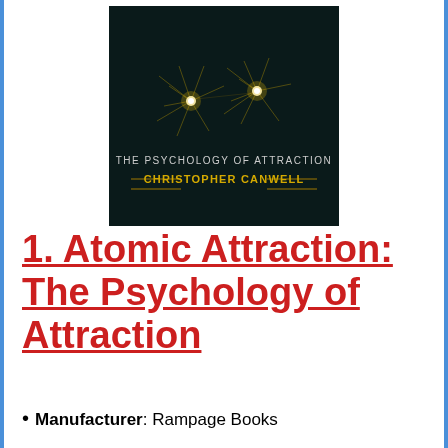[Figure (photo): Book cover of 'The Psychology of Attraction' by Christopher Canwell. Dark background with two bright star-like sparks connected by thin lines. Text reads 'THE PSYCHOLOGY OF ATTRACTION' and 'CHRISTOPHER CANWELL' in gold/yellow lettering.]
1. Atomic Attraction: The Psychology of Attraction
Manufacturer: Rampage Books